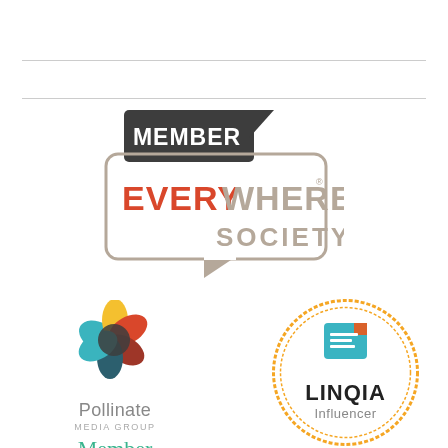[Figure (logo): Member Everywhere Society logo - dark grey speech bubble with MEMBER text, tan/beige rounded rectangle border with EVERYWHERE in red/grey and SOCIETY in grey]
[Figure (logo): Pollinate Media Group Member logo - colorful hexagonal flower icon with text Pollinate Media Group Member in teal cursive]
[Figure (logo): LINQIA Influencer badge - orange dashed circle border with teal/orange list icon, LINQIA in bold black, Influencer in grey]